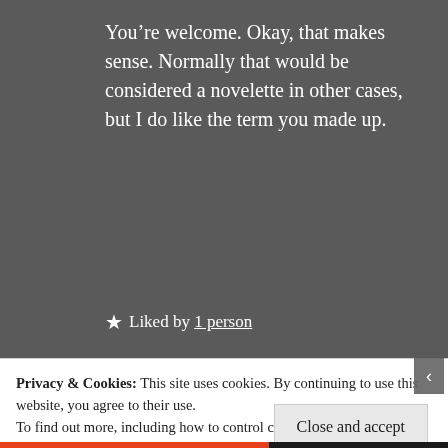You’re welcome. Okay, that makes sense. Normally that would be considered a novelette in other cases, but I do like the term you made up.
★ Liked by 1 person
[Figure (logo): Circular dark red logo with stylized double-B initials for Bubun's Bubble blog]
A.S.
January 9, 2020    Reply
Privacy & Cookies: This site uses cookies. By continuing to use this website, you agree to their use.
To find out more, including how to control cookies, see here: Cookie Policy
Close and accept